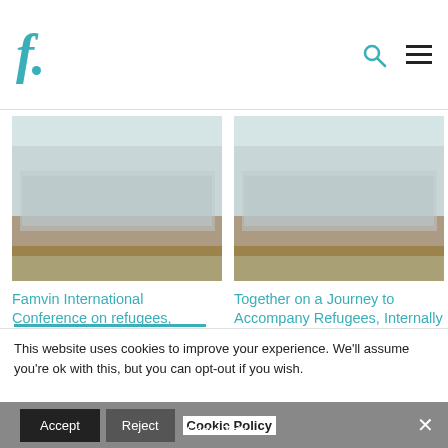Famvin website header with logo and navigation icons
[Figure (photo): Group photo of conference participants in a large hall]
Famvin International Conference on refugees, displaced persons and trafficked individuals
June 26, 2022
In "Homelessness"
[Figure (photo): Group photo of participants at a church or hall]
Together on a Journey to Accompany Refugees, Internally Displaced People and Victims of Human Trafficking
June 19, 2022
In "Homelessness"
This website uses cookies to improve your experience. We'll assume you're ok with this, but you can opt-out if you wish.